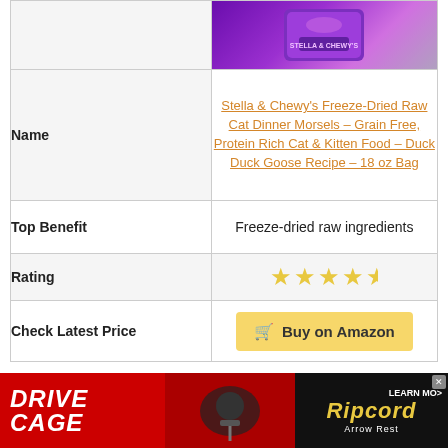|  |  |
| --- | --- |
| [product image] | [Stella & Chewy's product photo] |
| Name | Stella & Chewy's Freeze-Dried Raw Cat Dinner Morsels – Grain Free, Protein Rich Cat & Kitten Food – Duck Duck Goose Recipe – 18 oz Bag |
| Top Benefit | Freeze-dried raw ingredients |
| Rating | 4 stars |
| Check Latest Price | Buy on Amazon |
[Figure (photo): Advertisement banner for Drive Cage and Ripcord Arrow Rest]